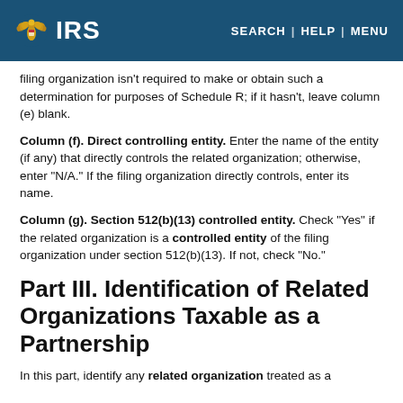IRS | SEARCH | HELP | MENU
filing organization isn't required to make or obtain such a determination for purposes of Schedule R; if it hasn't, leave column (e) blank.
Column (f). Direct controlling entity. Enter the name of the entity (if any) that directly controls the related organization; otherwise, enter "N/A." If the filing organization directly controls, enter its name.
Column (g). Section 512(b)(13) controlled entity. Check "Yes" if the related organization is a controlled entity of the filing organization under section 512(b)(13). If not, check "No."
Part III. Identification of Related Organizations Taxable as a Partnership
In this part, identify any related organization treated as a